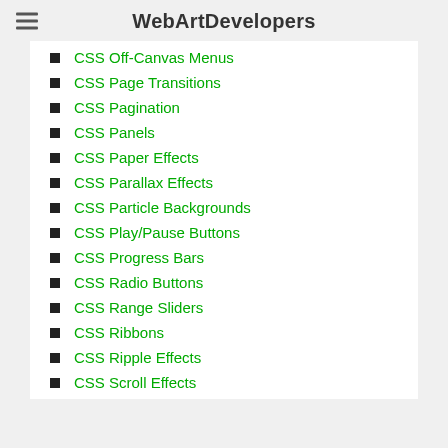WebArtDevelopers
CSS Off-Canvas Menus
CSS Page Transitions
CSS Pagination
CSS Panels
CSS Paper Effects
CSS Parallax Effects
CSS Particle Backgrounds
CSS Play/Pause Buttons
CSS Progress Bars
CSS Radio Buttons
CSS Range Sliders
CSS Ribbons
CSS Ripple Effects
CSS Scroll Effects